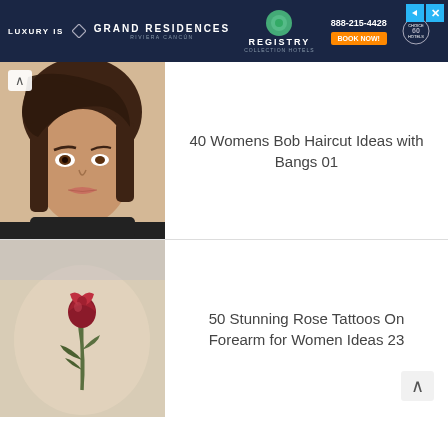[Figure (other): Advertisement banner for Grand Residences Riviera Cancun / Registry Collection Hotels with dark navy background, phone number 888-215-4428, Book Now button, and navigation/close buttons]
[Figure (photo): Woman with short brown pixie cut hairstyle with side-swept bangs, wearing makeup, with white/light background]
40 Womens Bob Haircut Ideas with Bangs 01
[Figure (photo): Close-up of a forearm with a small realistic rose tattoo with stem and leaves on light skin]
50 Stunning Rose Tattoos On Forearm for Women Ideas 23